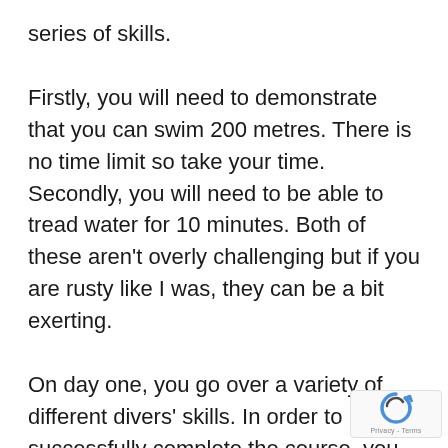series of skills.
Firstly, you will need to demonstrate that you can swim 200 metres. There is no time limit so take your time. Secondly, you will need to be able to tread water for 10 minutes. Both of these aren't overly challenging but if you are rusty like I was, they can be a bit exerting.
On day one, you go over a variety of different divers' skills. In order to successfully complete the course, you need to demonstrate each of these. Some of the skills include setting up your own dive equipment, clearing your mask/taking off and replacing your mask while underwater, controlling your buoyancy and various safety skills. The details of all of the